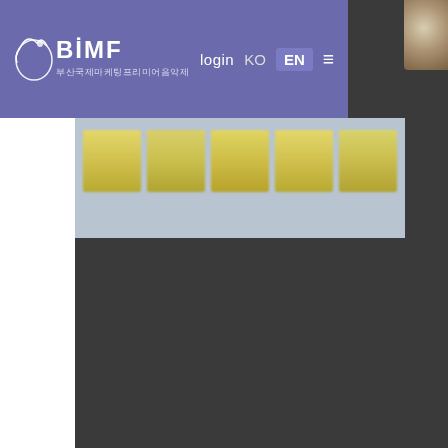[Figure (screenshot): BIMF website screenshot showing navigation bar with logo, login, KO/EN language toggles, and hamburger menu on purple/indigo background. Below nav is a blurred image strip with golden/yellow horizontal bands on a blue-grey background. The lower portion of the page shows a dark grey area (loading or empty content).]